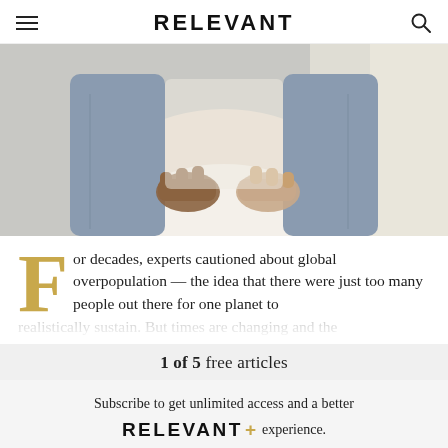RELEVANT
[Figure (photo): Close-up photo of a pregnant person's belly being cradled by two sets of hands, wearing a denim jacket and white shirt, standing near a window.]
For decades, experts cautioned about global overpopulation — the idea that there were just too many people out there for one planet to realistically sustain. But times are changing and the
1 of 5 free articles
Subscribe to get unlimited access and a better RELEVANT+ experience.
GET UNLIMITED ACCESS